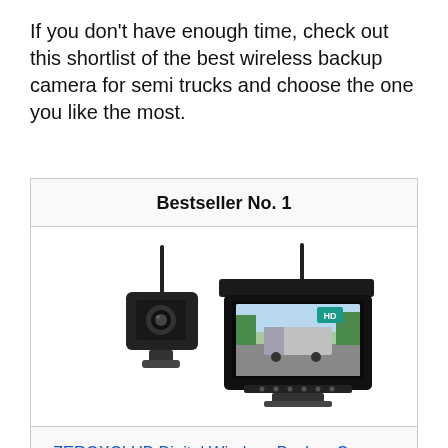If you don't have enough time, check out this shortlist of the best wireless backup camera for semi trucks and choose the one you like the most.
Bestseller No. 1
[Figure (photo): Product photo of a wireless backup camera system kit showing a small square camera unit on the left and a 7-inch HD monitor/display unit with antenna on the right, displaying a truck in the screen.]
ZEROXCLUB Digital Wireless Backup Camera System Kit, IP69 Waterproof Wireless Rear View Camera +...
BUY ON AMAZON